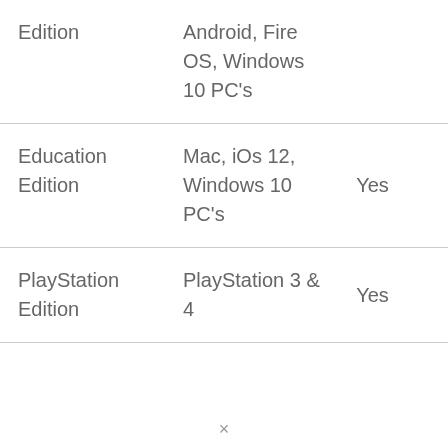| Edition | Android, Fire OS, Windows 10 PC's |  |
| Education Edition | Mac, iOs 12, Windows 10 PC's | Yes |
| PlayStation Edition | PlayStation 3 & 4 | Yes |